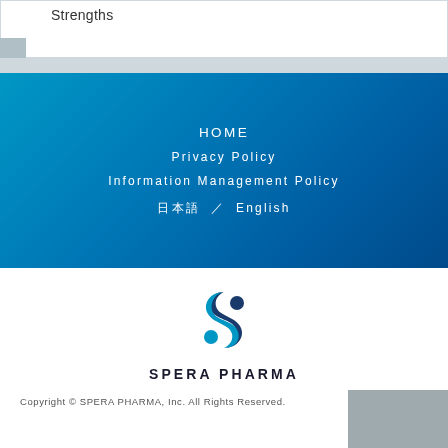Strengths
HOME
Privacy Policy
Information Management Policy
日本語 / English
[Figure (logo): SPERA PHARMA company logo with stylized blue S shape and company name]
Copyright © SPERA PHARMA, Inc. All Rights Reserved.